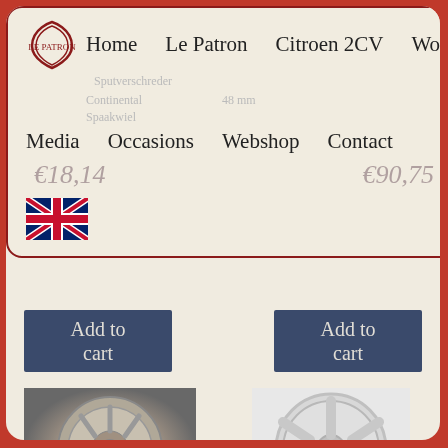Home | Le Patron | Citroen 2CV | Workshop | Media | Occasions | Webshop | Contact
€18,14   €90,75
Add to cart  |  Add to cart
[Figure (photo): Chrome/silver wheel rim for Citroën 2CV, Velg 2cv Breed 5.5 J]
[Figure (photo): Silver 6-spoke alloy wheel, Velg 6 Spaaks]
Velg 2cv Breed 5.5 J
Velg 6 Spaaks
€147,50
€157,50
Add to cart
Add to cart